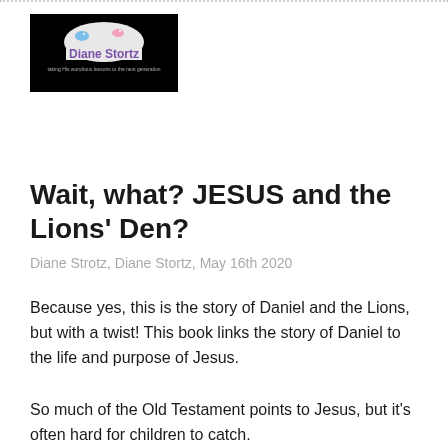[Figure (logo): Diane Stortz logo: black background with cloud graphic, birds, and purple text reading 'Diane Stortz' with tagline 'taking His wondrous lessons to the next generation']
Wait, what? JESUS and the Lions' Den?
Diane Strotz, Diane Stortz, May 16th 2020
Because yes, this is the story of Daniel and the Lions, but with a twist! This book links the story of Daniel to the life and purpose of Jesus.
So much of the Old Testament points to Jesus, but it's often hard for children to catch.